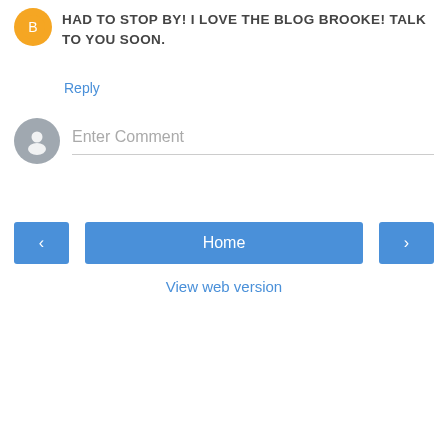HAD TO STOP BY! I LOVE THE BLOG BROOKE! TALK TO YOU SOON.
Reply
Enter Comment
Home
View web version